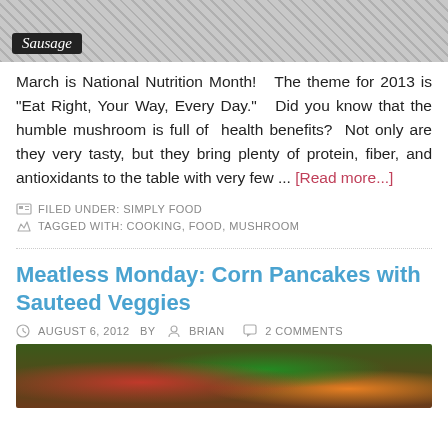[Figure (photo): Top portion of a food photo with 'Sausage' label overlay]
March is National Nutrition Month! The theme for 2013 is "Eat Right, Your Way, Every Day." Did you know that the humble mushroom is full of health benefits? Not only are they very tasty, but they bring plenty of protein, fiber, and antioxidants to the table with very few ... [Read more...]
FILED UNDER: SIMPLY FOOD
TAGGED WITH: COOKING, FOOD, MUSHROOM
Meatless Monday: Corn Pancakes with Sauteed Veggies
AUGUST 6, 2012   BY   BRIAN   2 COMMENTS
[Figure (photo): Bottom portion showing sauteed vegetables with greens and red peppers]